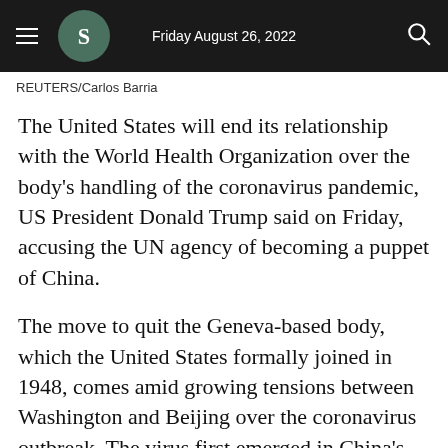Friday August 26, 2022
REUTERS/Carlos Barria
The United States will end its relationship with the World Health Organization over the body's handling of the coronavirus pandemic, US President Donald Trump said on Friday, accusing the UN agency of becoming a puppet of China.
The move to quit the Geneva-based body, which the United States formally joined in 1948, comes amid growing tensions between Washington and Beijing over the coronavirus outbreak. The virus first emerged in China's Wuh[an C]ity late last year.